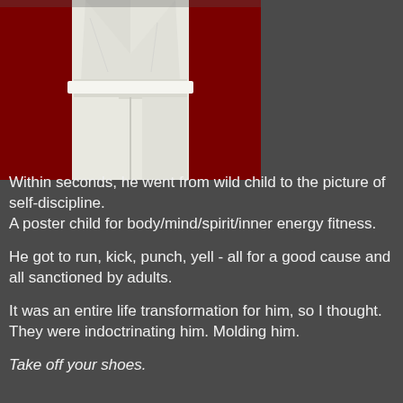[Figure (photo): Photo of a person in a white martial arts gi (karate uniform) standing on a red mat. Only the torso and legs are visible.]
Within seconds, he went from wild child to the picture of self-discipline.
A poster child for body/mind/spirit/inner energy fitness.

He got to run, kick, punch, yell - all for a good cause and all sanctioned by adults.

It was an entire life transformation for him, so I thought. They were indoctrinating him. Molding him.

Take off your shoes.